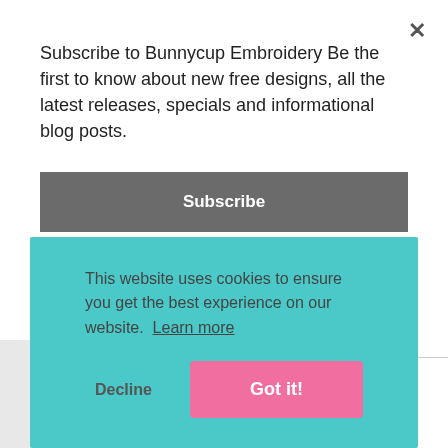Subscribe to Bunnycup Embroidery Be the first to know about new free designs, all the latest releases, specials and informational blog posts.
Subscribe
handmade and darning featuring designs from Magical Unicorns.
Design Sets Used
[Figure (illustration): Small embroidery design thumbnail showing a unicorn character]
This website uses cookies to ensure you get the best experience on our website. Learn more
Decline
Got it!